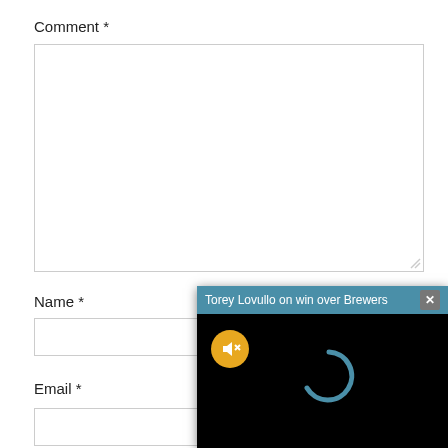Comment *
[Figure (screenshot): Empty comment textarea input box with resize handle]
Name *
[Figure (screenshot): Empty name text input box]
Email *
[Figure (screenshot): Empty email text input box (partially visible)]
[Figure (screenshot): Video popup overlay titled 'Torey Lovullo on win over Brewers' with teal header bar, close button (X), black video area showing yellow mute button and teal loading spinner]